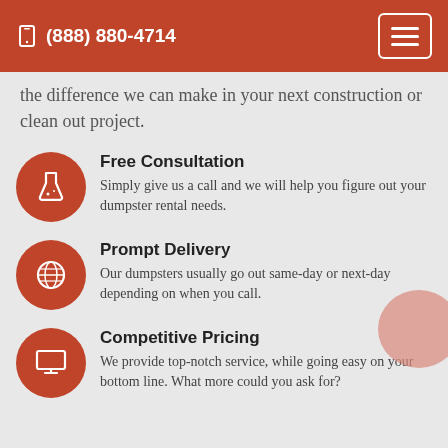(888) 880-4714
the difference we can make in your next construction or clean out project.
Free Consultation
Simply give us a call and we will help you figure out your dumpster rental needs.
Prompt Delivery
Our dumpsters usually go out same-day or next-day depending on when you call.
Competitive Pricing
We provide top-notch service, while going easy on your bottom line. What more could you ask for?